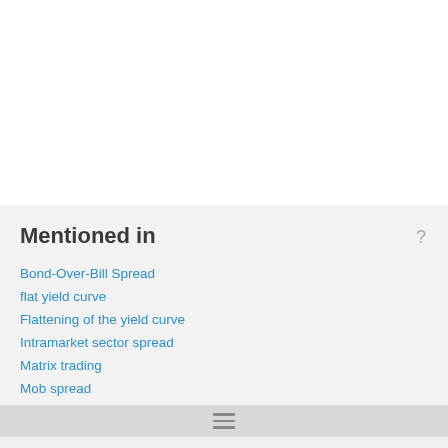Mentioned in
Bond-Over-Bill Spread
flat yield curve
Flattening of the yield curve
Intramarket sector spread
Matrix trading
Mob spread
Negative Points
Net Branch